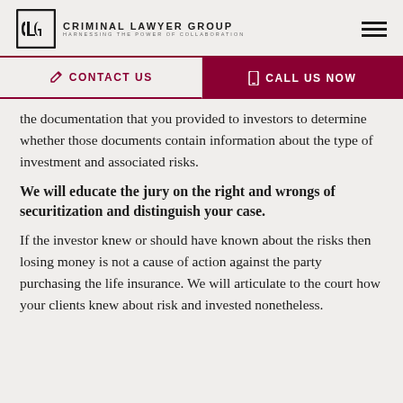Criminal Lawyer Group — Harnessing the Power of Collaboration
CONTACT US | CALL US NOW
the documentation that you provided to investors to determine whether those documents contain information about the type of investment and associated risks.
We will educate the jury on the right and wrongs of securitization and distinguish your case.
If the investor knew or should have known about the risks then losing money is not a cause of action against the party purchasing the life insurance. We will articulate to the court how your clients knew about risk and invested nonetheless.